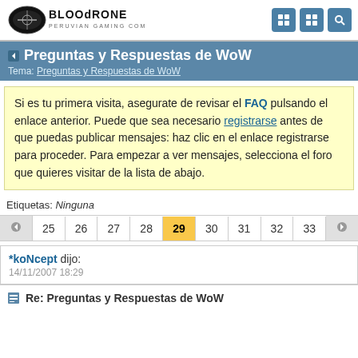Bloodrone - Peruvian Gaming Community
Preguntas y Respuestas de WoW
Tema: Preguntas y Respuestas de WoW
Si es tu primera visita, asegurate de revisar el FAQ pulsando el enlace anterior. Puede que sea necesario registrarse antes de que puedas publicar mensajes: haz clic en el enlace registrarse para proceder. Para empezar a ver mensajes, selecciona el foro que quieres visitar de la lista de abajo.
Etiquetas: Ninguna
25 26 27 28 29 30 31 32 33
*koNcept dijo:
14/11/2007 18:29
Re: Preguntas y Respuestas de WoW